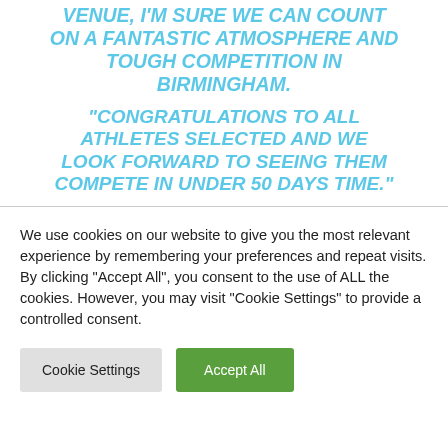VENUE, I'M SURE WE CAN COUNT ON A FANTASTIC ATMOSPHERE AND TOUGH COMPETITION IN BIRMINGHAM.
“CONGRATULATIONS TO ALL ATHLETES SELECTED AND WE LOOK FORWARD TO SEEING THEM COMPETE IN UNDER 50 DAYS TIME.”
We use cookies on our website to give you the most relevant experience by remembering your preferences and repeat visits. By clicking “Accept All”, you consent to the use of ALL the cookies. However, you may visit “Cookie Settings” to provide a controlled consent.